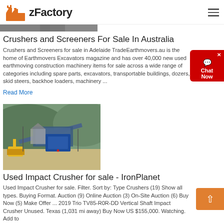zFactory
[Figure (photo): Partial top image strip showing industrial machinery scene]
Crushers and Screeners For Sale In Australia
Crushers and Screeners for sale in Adelaide TradeEarthmovers.au is the home of Earthmovers Excavators magazine and has over 40,000 new used earthmoving construction machinery items for sale across a wide range of categories including spare parts, excavators, transportable buildings, dozers, skid steers, backhoe loaders, machinery ...
Read More
[Figure (photo): Construction/mining site with industrial crusher equipment, excavators, and machinery in a quarry setting with hills in the background]
Used Impact Crusher for sale - IronPlanet
Used Impact Crusher for sale. Filter. Sort by: Type Crushers (19) Show all types. Buying Format. Auction (9) Online Auction (3) On-Site Auction (6) Buy Now (5) Make Offer ... 2019 Trio TV85-R0R-DD Vertical Shaft Impact Crusher Unused. Texas (1,031 mi away) Buy Now US $155,000. Watching. Add to